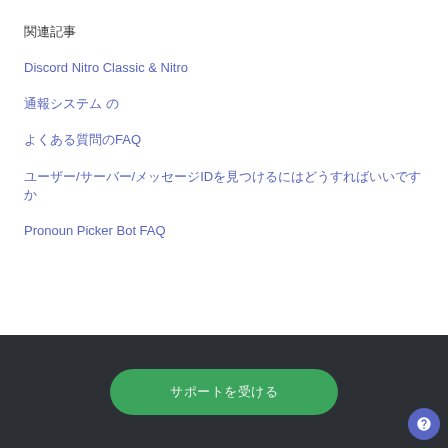関連記事
Discord Nitro Classic & Nitro
通報システム の
よくある質問のFAQ
ユーザー/サーバー/メッセージIDを見つけるにはどうすればいいですか
Pronoun Picker Bot FAQ
サポートを受ける